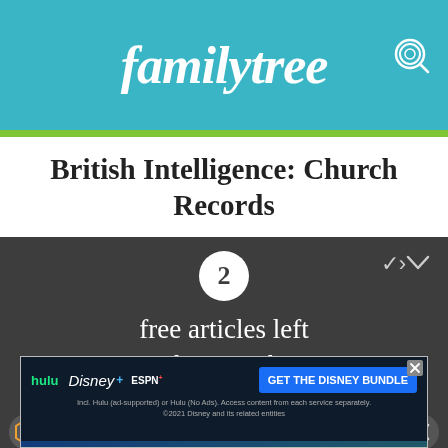familytree
British Intelligence: Church Records
2 free articles left this month
Don't miss the future.
Get unlimited access to premium articles.
[Figure (other): Disney Bundle advertisement banner: hulu, Disney+, ESPN+ logos with 'GET THE DISNEY BUNDLE' button. Fine print: Incl. Hulu (ad-supported) or Hulu (No Ads). Access content from each service separately. ©2021 Disney and its related entities]